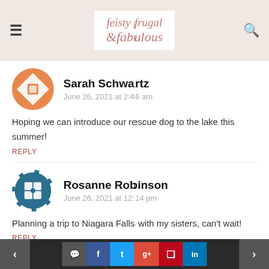feistyfrugalfabulous
Sarah Schwartz
June 26, 2021 at 2:46 am
Hoping we can introduce our rescue dog to the lake this summer!
REPLY
Rosanne Robinson
June 26, 2021 at 12:14 pm
Planning a trip to Niagara Falls with my sisters, can't wait!
REPLY
< [comment] [f] [t] [g+] [p] [in] >